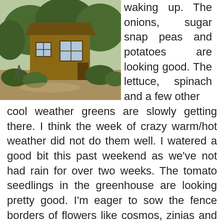[Figure (photo): A rustic wooden garden shed or small cabin surrounded by lush green trees and shrubs, with a dirt path and some garden furniture visible.]
waking up. The onions, sugar snap peas and potatoes are looking good. The lettuce, spinach and a few other cool weather greens are slowly getting there. I think the week of crazy warm/hot weather did not do them well. I watered a good bit this past weekend as we've not had rain for over two weeks. The tomato seedlings in the greenhouse are looking pretty good. I'm eager to sow the fence borders of flowers like cosmos, zinias and a few perennial herbs such as feverfew but I was waiting for the past few days as we had some pretty chill night time temps. The rhubarb seedlings came up great and were just transplanted to pots. I'll likely sell or give a few of those away as I have far more than I need. Strawberries, blueberries, currants and gooseberries are all doing great. Two of the hardy kiwis look fantastic and two died for some reason, no clue why. I've lost three fruit trees also not sure why. One was a bit flooded, the other two